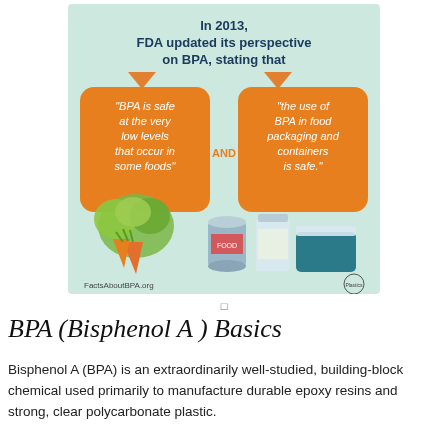[Figure (infographic): Infographic on light green background. Top text in dark blue bold: 'In 2013, FDA updated its perspective on BPA, stating that'. Two orange rounded speech-bubble boxes with white italic text: left box says '"BPA is safe at the very low levels that occur in some foods"', right box says '"the use of BPA in food packaging and containers is safe."'. Between boxes in orange text: 'AND'. Below, illustrations of vegetables (lettuce, carrots), a tin can, a glass/jar, and a plastic container. Bottom left: 'FactsAboutBPA.org'. Bottom right: Plastics Industry Council logo.]
□
BPA (Bisphenol A ) Basics
Bisphenol A (BPA) is an extraordinarily well-studied, building-block chemical used primarily to manufacture durable epoxy resins and strong, clear polycarbonate plastic.